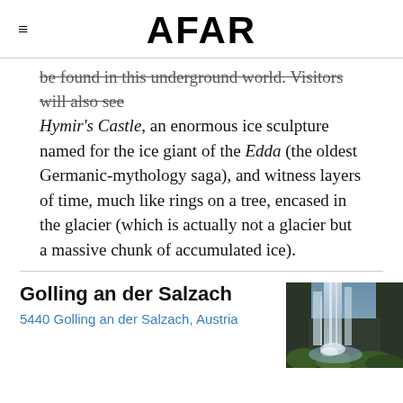AFAR
be found in this underground world. Visitors will also see Hymir's Castle, an enormous ice sculpture named for the ice giant of the Edda (the oldest Germanic-mythology saga), and witness layers of time, much like rings on a tree, encased in the glacier (which is actually not a glacier but a massive chunk of accumulated ice).
Golling an der Salzach
5440 Golling an der Salzach, Austria
[Figure (photo): A waterfall cascading over mossy rocks with long-exposure silky water effect]